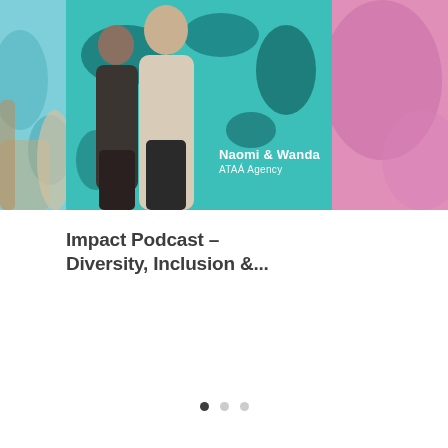[Figure (photo): Carousel image showing two people (Naomi and Wanda) on a teal background with dark blob patterns. Text overlay reads 'Naomi & Wanda' and 'ATAÁ Agency'. Partial images visible on left and right sides.]
Impact Podcast - Diversity, Inclusion &...